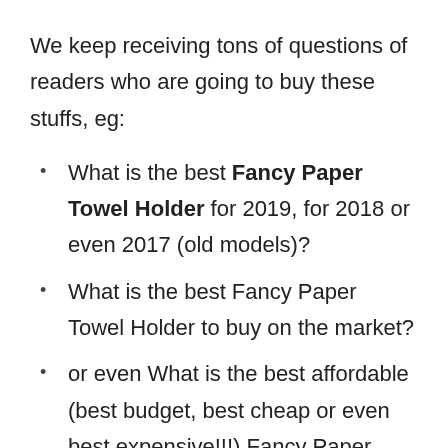We keep receiving tons of questions of readers who are going to buy these stuffs, eg:
What is the best Fancy Paper Towel Holder for 2019, for 2018 or even 2017 (old models)?
What is the best Fancy Paper Towel Holder to buy on the market?
or even What is the best affordable (best budget, best cheap or even best expensive!!!) Fancy Paper Towel Holder?…
All of these above questions make you crazy whenever coming up with them. We know your